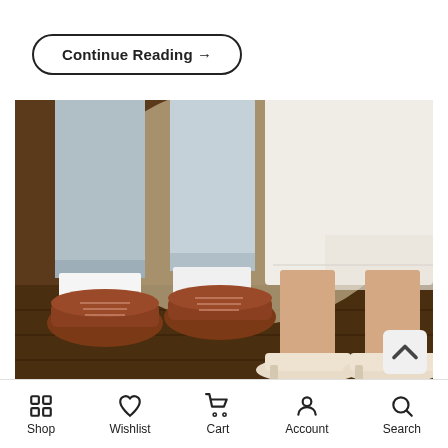Continue Reading →
[Figure (photo): Close-up photo of a couple's legs and feet: man in grey trousers, white socks, and brown oxford dress shoes; woman in white dress/skirt with cream/nude high heel pumps, standing on a dark wooden floor.]
Shop | Wishlist | Cart | Account | Search